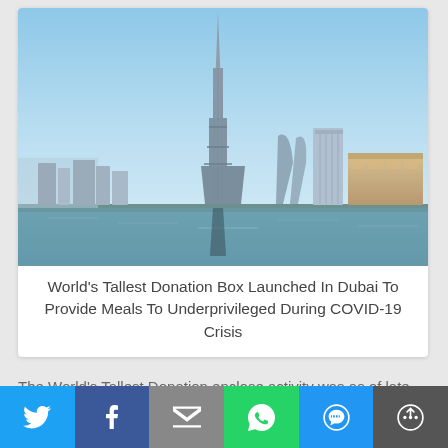[Figure (photo): Aerial photo of the Burj Khalifa skyscraper in Dubai skyline with surrounding buildings and water reflection]
World's Tallest Donation Box Launched In Dubai To Provide Meals To Underprivileged During COVID-19 Crisis
The World's Tallest Donation enclose activity was as of late
[Figure (infographic): Social share bar with Twitter, Facebook, Email, WhatsApp, SMS, and Share buttons]